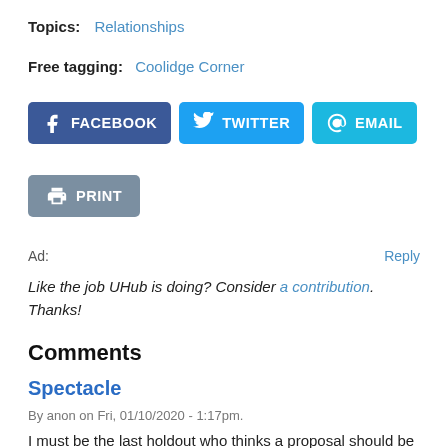Topics: Relationships
Free tagging: Coolidge Corner
[Figure (infographic): Social share buttons: Facebook, Twitter, Email, Print]
Ad:
Like the job UHub is doing? Consider a contribution. Thanks!
Comments
Spectacle
By anon on Fri, 01/10/2020 - 1:17pm.
I must be the last holdout who thinks a proposal should be a